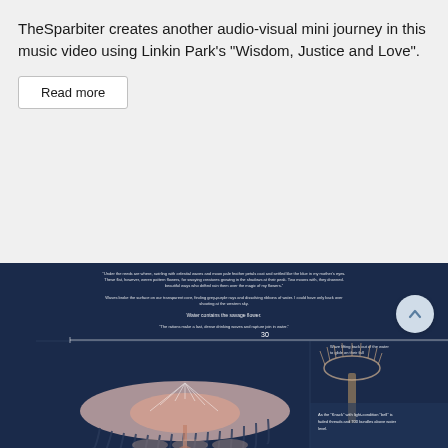TheSparbiter creates another audio-visual mini journey in this music video using Linkin Park's "Wisdom, Justice and Love".
Read more
[Figure (illustration): A dark blue infographic-style illustration showing jellyfish-like organisms with text annotations, timeline markers, and scientific labels. Left side shows a jellyfish viewed from above with tentacles, right side shows a side-profile view of a similar organism. Text overlays describe biological features. A horizontal scale bar labeled '30' is visible.]